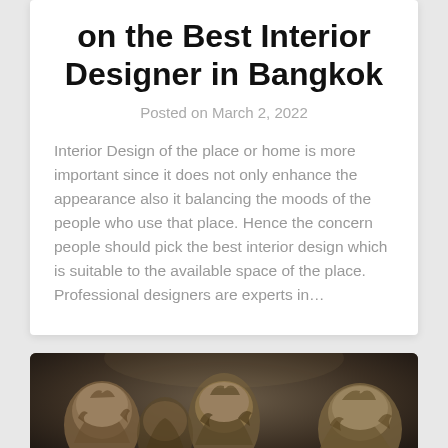on the Best Interior Designer in Bangkok
Posted on March 2, 2022
Interior Design of the place or home is more important since it does not only enhance the appearance also it balancing the moods of the people who use that place. Hence the concern people should pick the best interior design which is suitable to the available space of the place. Professional designers are experts in…
[Figure (photo): Photo showing the heads/silhouettes of several young people with curly/wavy hair, appearing to be from a movie or editorial shoot, dark moody background]